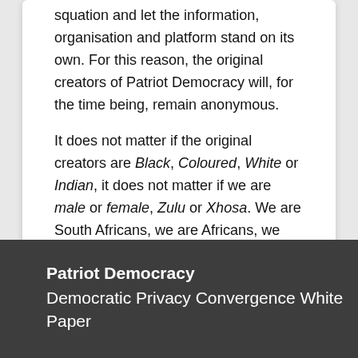squation and let the information, organisation and platform stand on its own. For this reason, the original creators of Patriot Democracy will, for the time being, remain anonymous.
It does not matter if the original creators are Black, Coloured, White or Indian, it does not matter if we are male or female, Zulu or Xhosa. We are South Africans, we are Africans, we are human, and it does not matter because we are all the same.
Patriot Democracy
Democratic Privacy Convergence White Paper